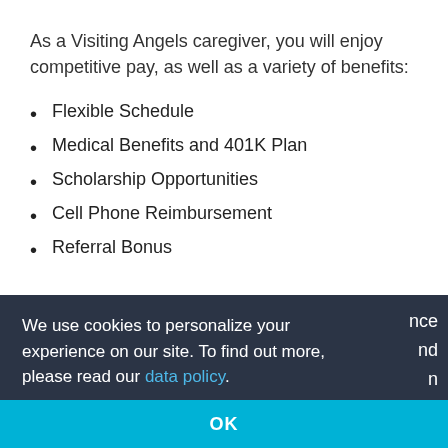As a Visiting Angels caregiver, you will enjoy competitive pay, as well as a variety of benefits:
Flexible Schedule
Medical Benefits and 401K Plan
Scholarship Opportunities
Cell Phone Reimbursement
Referral Bonus
We use cookies to personalize your experience on our site. To find out more, please read our data policy.
OK